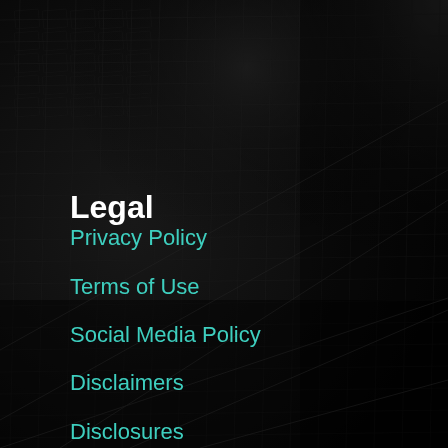[Figure (photo): Dark background photograph of a glass skyscraper building viewed from below at an angle, showing a grid-pattern glass facade against a dark sky. The right portion transitions to near-black shadow.]
Legal
Privacy Policy
Terms of Use
Social Media Policy
Disclaimers
Disclosures